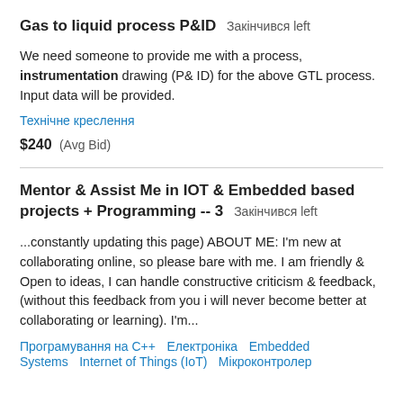Gas to liquid process P&ID  Закінчився left
We need someone to provide me with a process, instrumentation drawing (P& ID) for the above GTL process. Input data will be provided.
Технічне креслення
$240  (Avg Bid)
Mentor & Assist Me in IOT & Embedded based projects + Programming -- 3  Закінчився left
...constantly updating this page) ABOUT ME: I'm new at collaborating online, so please bare with me. I am friendly & Open to ideas, I can handle constructive criticism & feedback, (without this feedback from you i will never become better at collaborating or learning). I'm...
Програмування на С++  Електроніка  Embedded Systems  Internet of Things (IoT)  Мікроконтролер